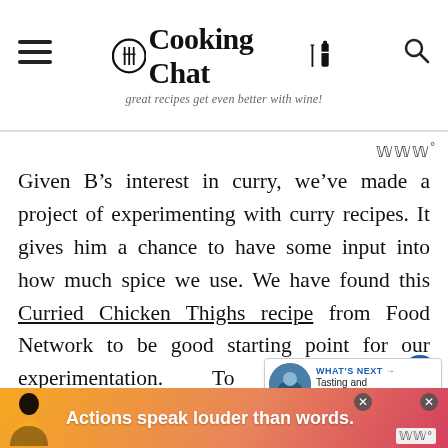Cooking Chat — great recipes get even better with wine!
Given B's interest in curry, we've made a project of experimenting with curry recipes. It gives him a chance to have some input into how much spice we use. We have found this Curried Chicken Thighs recipe from Food Network to be good starting point for our experimentation. To moderate th… for our 11 year old's palate, we dropped
[Figure (screenshot): What's Next widget showing Tasting and Pairing... article thumbnail]
[Figure (screenshot): Advertisement banner: Actions speak louder than words.]